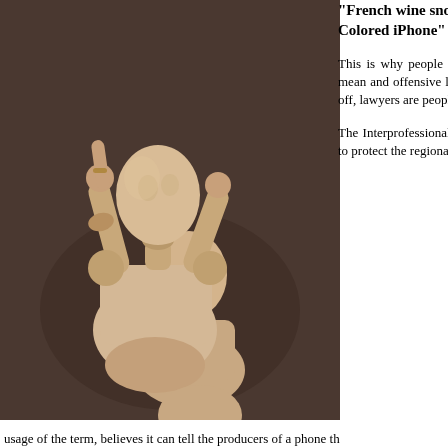[Figure (photo): Two wooden artist mannequin figures interacting, one appearing to gesture or grab the other, photographed against a dark brown background.]
“French wine snobs warn Apple not to release ‘Champagne” Colored iPhone”
This is why people hate lawyers, isn’t it? Isn’t this why no matter how mean and offensive lawyer jokes can be, no one ever says, “hey, knock it off, lawyers are people too!”
The Interprofessional Committee for Champagne Wines, whose charge is to protect the regional identity of the Champagne drink against unjustified usage of the term, believes it can tell the producers of a phone th